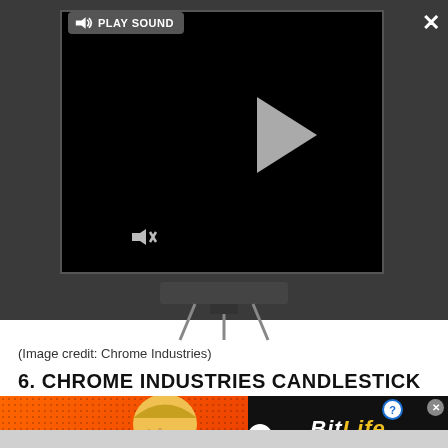[Figure (screenshot): Embedded video player on dark gray background with a play sound button, play button in center, mute icon, close (X) button top right, and expand button bottom right. Below the player is a monitor stand illustration.]
(Image credit: Chrome Industries)
6. CHROME INDUSTRIES CANDLESTICK
[Figure (screenshot): BitLife advertisement banner with red/orange background, FAIL text, cartoon character face-palming, flame, logo 'BitLife' in black bar, and 'START A NEW LIFE' text.]